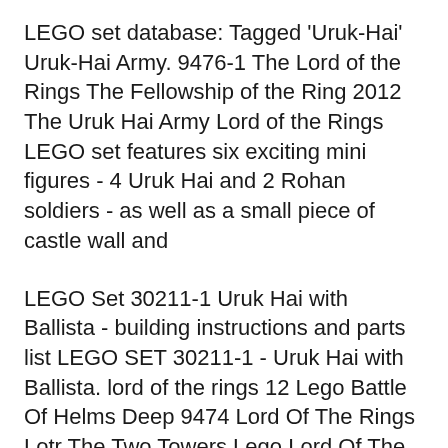LEGO set database: Tagged 'Uruk-Hai' Uruk-Hai Army. 9476-1 The Lord of the Rings The Fellowship of the Ring 2012 The Uruk Hai Army Lord of the Rings LEGO set features six exciting mini figures - 4 Uruk Hai and 2 Rohan soldiers - as well as a small piece of castle wall and
LEGO Set 30211-1 Uruk Hai with Ballista - building instructions and parts list LEGO SET 30211-1 - Uruk Hai with Ballista. lord of the rings 12 Lego Battle Of Helms Deep 9474 Lord Of The Rings Lotr The Two Towers Lego Lord Of The Rings Uruk-hai Army 9471. Used 100 Complete With Box And Instructions